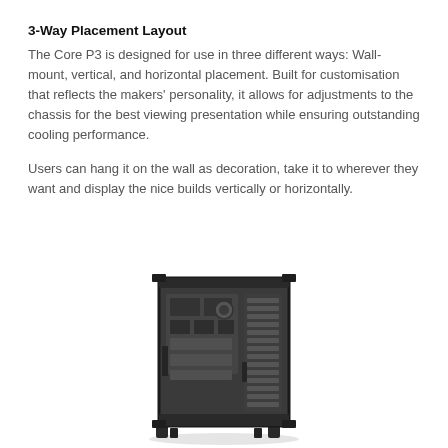3-Way Placement Layout
The Core P3 is designed for use in three different ways: Wall-mount, vertical, and horizontal placement. Built for customisation that reflects the makers' personality, it allows for adjustments to the chassis for the best viewing presentation while ensuring outstanding cooling performance.
Users can hang it on the wall as decoration, take it to wherever they want and display the nice builds vertically or horizontally.
[Figure (photo): Photo of the Thermaltake Core P3 open-frame PC chassis viewed from the back/interior, showing the motherboard tray, expansion slots, and mounting standoffs, rendered in dark gray/black.]